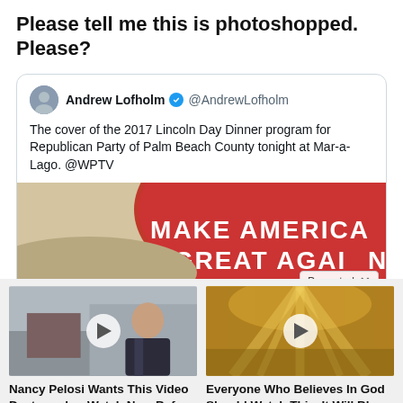Please tell me this is photoshopped. Please?
[Figure (screenshot): Screenshot of a tweet by Andrew Lofholm (@AndrewLofholm) with verified badge, text: 'The cover of the 2017 Lincoln Day Dinner program for Republican Party of Palm Beach County tonight at Mar-a-Lago. @WPTV', with image of red MAGA hat and a 'Promoted X' badge.]
[Figure (photo): Thumbnail of video ad showing a woman (Nancy Pelosi) with play button overlay]
Nancy Pelosi Wants This Video Destroyed — Watch Now Before It's Banned
🔥 592,715
[Figure (photo): Thumbnail of video ad showing clouds/sky with play button overlay]
Everyone Who Believes In God Should Watch This. It Will Blow Your Mind
🔥 16,241